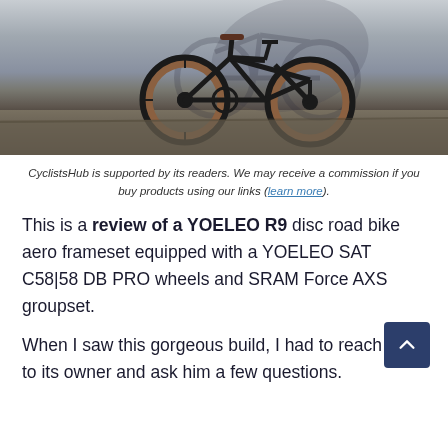[Figure (photo): A black carbon road bike with brown/tan tires leaning against a concrete wall, with a shadow of the bike visible on the wall behind it.]
CyclistsHub is supported by its readers. We may receive a commission if you buy products using our links (learn more).
This is a review of a YOELEO R9 disc road bike aero frameset equipped with a YOELEO SAT C58|58 DB PRO wheels and SRAM Force AXS groupset.
When I saw this gorgeous build, I had to reach out to its owner and ask him a few questions.